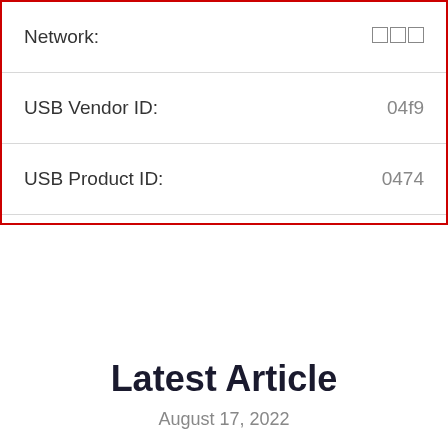| Label | Value |
| --- | --- |
| Network: | □□□ |
| USB Vendor ID: | 04f9 |
| USB Product ID: | 0474 |
Latest Article
August 17, 2022